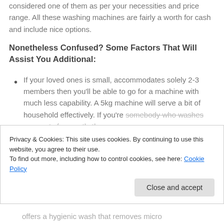considered one of them as per your necessities and price range. All these washing machines are fairly a worth for cash and include nice options.
Nonetheless Confused? Some Factors That Will Assist You Additional:
If your loved ones is small, accommodates solely 2-3 members then you'll be able to go for a machine with much less capability. A 5kg machine will serve a bit of household effectively. If you're somebody who washes garments frequently then
Privacy & Cookies: This site uses cookies. By continuing to use this website, you agree to their use. To find out more, including how to control cookies, see here: Cookie Policy
offers a hygienic wash that removes micro